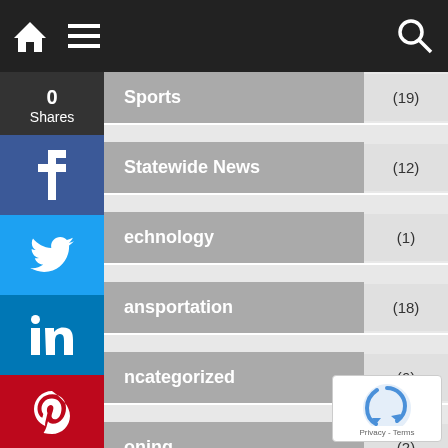Navigation bar with home, menu, and search icons
Sports (19)
Statewide News (12)
Technology (1)
Transportation (18)
Uncategorized (6)
Zoning (2)
0 Shares
[Figure (screenshot): Social share sidebar with Facebook, Twitter, LinkedIn, Pinterest, and more buttons]
[Figure (other): reCAPTCHA widget with Privacy and Terms links]